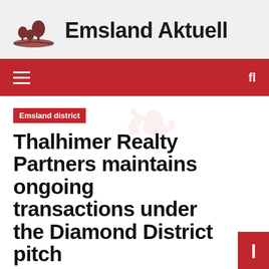Emsland Aktuell
[Figure (logo): Emsland Aktuell logo: stylized brown/dark red trees on a hill above a curved base line]
fl
Emsland district
Thalhimer Realty Partners maintains ongoing transactions under the Diamond District pitch